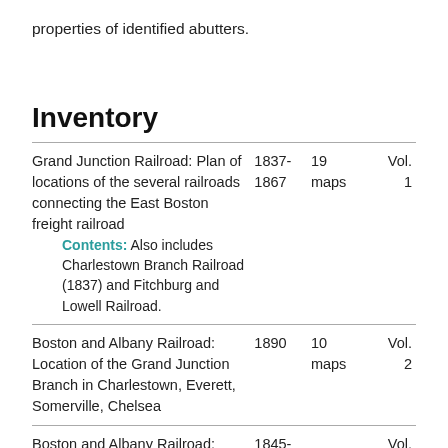properties of identified abutters.
Inventory
| Title | Date | Count | Volume |
| --- | --- | --- | --- |
| Grand Junction Railroad: Plan of locations of the several railroads connecting the East Boston freight railroad
Contents: Also includes Charlestown Branch Railroad (1837) and Fitchburg and Lowell Railroad. | 1837-1867 | 19 maps | Vol. 1 |
| Boston and Albany Railroad: Location of the Grand Junction Branch in Charlestown, Everett, Somerville, Chelsea | 1890 | 10 maps | Vol. 2 |
| Boston and Albany Railroad: | 1845- |  | Vol. |